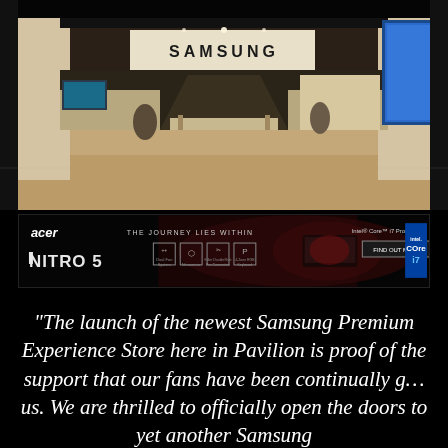[Figure (photo): Interior of a Samsung Premium Experience Store showing a wide corridor with Samsung signage, display tables with devices, display walls, and a bright blue digital screen on the right side.]
[Figure (infographic): Acer Nitro 5 advertisement banner showing 'THE JOURNEY LIES WITHIN', feature icons (Dual Fan System, Acer Nitsense, Killer DoubleShot Pro Connection, 4-Zone RGB Keyboard), a gaming laptop image, Intel Core i7 Processor badge, and a 'FIND OUT MORE' button. Intel CORE i7 logo on the right.]
“The launch of the newest Samsung Premium Experience Store here in Pavilion is proof of the support that our fans have been continually giving us. We are thrilled to officially open the doors to yet another Samsung